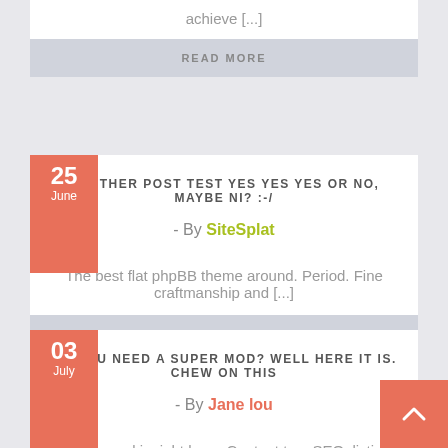achieve [...]
READ MORE
ANOTHER POST TEST YES YES YES OR NO, MAYBE NI? :-/
- By SiteSplat
The best flat phpBB theme around. Period. Fine craftmanship and [...]
READ MORE
DO YOU NEED A SUPER MOD? WELL HERE IT IS. CHEW ON THIS
- By Jane lou
All you need is right here. Content tag, SEO, listing, Pizza spaghetti [...]